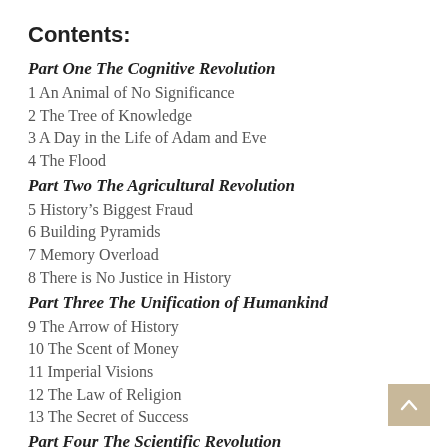Contents:
Part One The Cognitive Revolution
1 An Animal of No Significance
2 The Tree of Knowledge
3 A Day in the Life of Adam and Eve
4 The Flood
Part Two The Agricultural Revolution
5 History's Biggest Fraud
6 Building Pyramids
7 Memory Overload
8 There is No Justice in History
Part Three The Unification of Humankind
9 The Arrow of History
10 The Scent of Money
11 Imperial Visions
12 The Law of Religion
13 The Secret of Success
Part Four The Scientific Revolution
14 The Discovery of Ignorance
15 The Marriage of Science and Empire